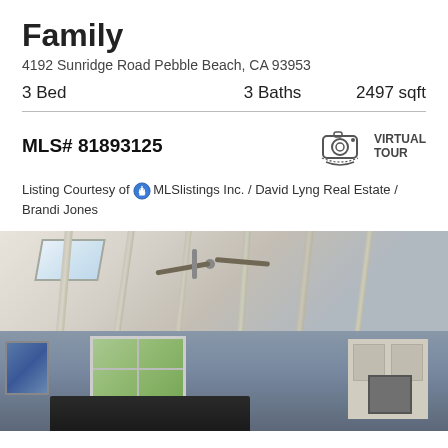Family
4192 Sunridge Road Pebble Beach, CA 93953
3 Bed   3 Baths   2497 sqft
MLS# 81893125
VIRTUAL TOUR
Listing Courtesy of MLSlistings Inc. / David Lyng Real Estate / Brandi Jones
[Figure (photo): Interior photo of a home showing vaulted ceiling with exposed white beams, skylights, ceiling fan, kitchen area with dark island, white cabinets, stainless steel appliances, and windows with view of greenery]